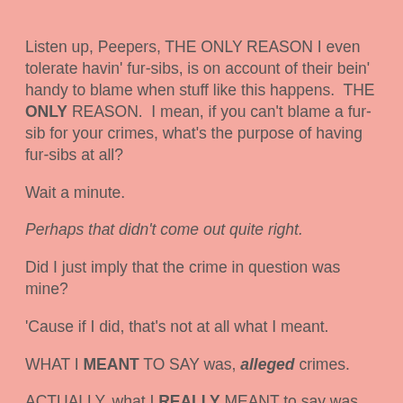Listen up, Peepers, THE ONLY REASON I even tolerate havin' fur-sibs, is on account of their bein' handy to blame when stuff like this happens.  THE ONLY REASON.  I mean, if you can't blame a fur-sib for your crimes, what's the purpose of having fur-sibs at all?

Wait a minute.

Perhaps that didn't come out quite right.

Did I just imply that the crime in question was mine?

'Cause if I did, that's not at all what I meant.

WHAT I MEANT TO SAY was, alleged crimes.

ACTUALLY, what I REALLY MEANT to say was, alleged crimes that somebody else committed, but for some inexplicable reason, I, Seville the Cat, am bein' blamed.

Yeah, that's what I meant to say, for sure.